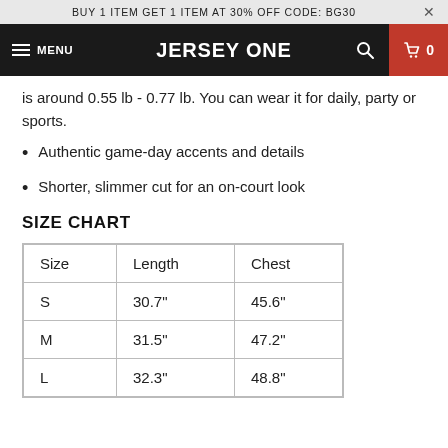BUY 1 ITEM GET 1 ITEM AT 30% OFF CODE: BG30
JERSEY ONE
is around 0.55 lb - 0.77 lb. You can wear it for daily, party or sports.
Authentic game-day accents and details
Shorter, slimmer cut for an on-court look
SIZE CHART
| Size | Length | Chest |
| --- | --- | --- |
| S | 30.7" | 45.6" |
| M | 31.5" | 47.2" |
| L | 32.3" | 48.8" |